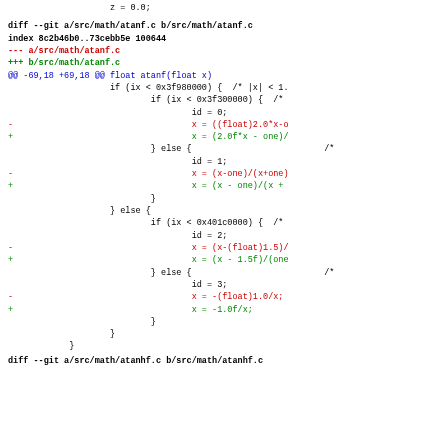z = 0.0;
diff --git a/src/math/atanf.c b/src/math/atanf.c
index 8c2b46b0..73cebb5e 100644
--- a/src/math/atanf.c
+++ b/src/math/atanf.c
@@ -69,18 +69,18 @@ float atanf(float x)
                     if (ix < 0x3f980000) {  /* |x| < 1.
                             if (ix < 0x3f300000) {  /*
                                     id = 0;
-                                    x = ((float)2.0*x-o
+                                    x = (2.0f*x - one)/
                             } else {                           /*
                                     id = 1;
-                                    x = (x-one)/(x+one)
+                                    x = (x - one)/(x +
                             }
                     } else {
                             if (ix < 0x401c0000) {  /*
                                     id = 2;
-                                    x = (x-(float)1.5)/
+                                    x = (x - 1.5f)/(one
                             } else {                           /*
                                     id = 3;
-                                    x = -(float)1.0/x;
+                                    x = -1.0f/x;
                             }
                     }
             }
diff --git a/src/math/atanhf.c b/src/math/atanhf.c